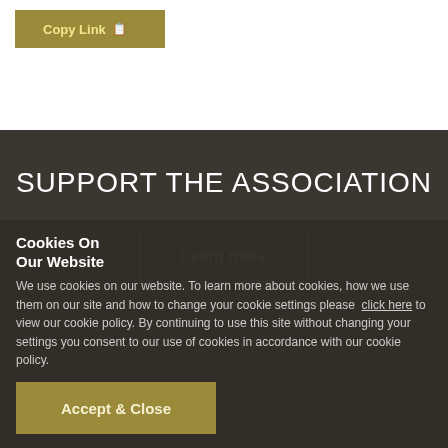[Figure (screenshot): Copy Link button with gold/olive background and light gold text]
SUPPORT THE ASSOCIATION
Learn more
Cookies On Our Website
We use cookies on our website. To learn more about cookies, how we use them on our site and how to change your cookie settings please click here to view our cookie policy. By continuing to use this site without changing your settings you consent to our use of cookies in accordance with our cookie policy.
Accept & Close